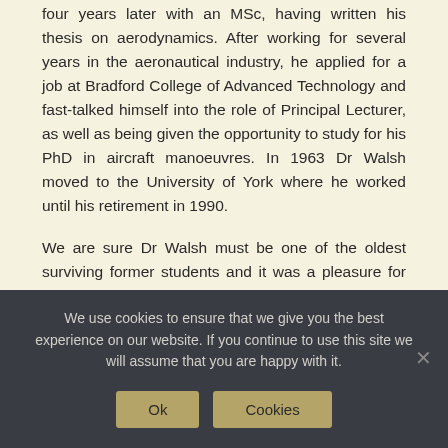four years later with an MSc, having written his thesis on aerodynamics.  After working for several years in the aeronautical industry, he applied for a job at Bradford College of Advanced Technology and fast-talked himself into the role of Principal Lecturer, as well as being given the opportunity to study for his PhD in aircraft manoeuvres.  In 1963 Dr Walsh moved to the University of York where he worked until his retirement in 1990.
We are sure Dr Walsh must be one of the oldest surviving former students and it was a pleasure for us and former Deputy Head, Steve Fearnley, to meet him and his family.  Following on from the visit, Dr Walsh and his daughters recorded some of his memories, which were as fresh as ever, and have sent them to us for our archives.
We use cookies to ensure that we give you the best experience on our website. If you continue to use this site we will assume that you are happy with it.